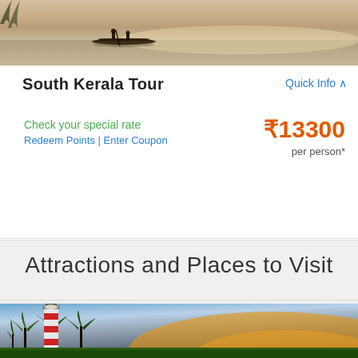[Figure (photo): Backwater boat scene in Kerala at sunset/dusk with people on a canoe and reflections on water]
South Kerala Tour
Quick Info ∧
Check your special rate
Redeem Points | Enter Coupon
₹13300
per person*
Attractions and Places to Visit
[Figure (photo): Lighthouse with red and white stripes surrounded by palm trees at sunset with golden sky]